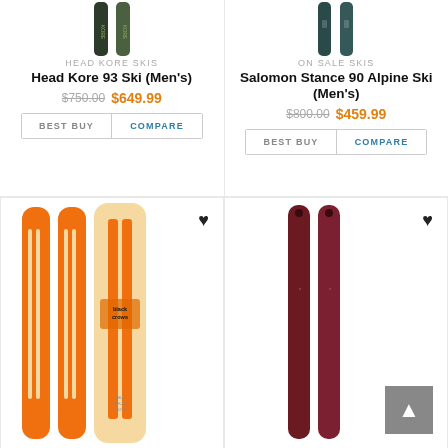[Figure (photo): Head Kore skis - dark green/olive colored skis pair shown vertically]
HEAD KORE SKIS
Head Kore 93 Ski (Men's)
$750.00 $649.99
[Figure (photo): Salomon Stance 90 Alpine skis - dark teal/blue colored skis pair shown vertically]
ON SALE SKIS
Salomon Stance 90 Alpine Ski (Men's)
$800.00 $459.99
[Figure (photo): Black Crows skis - bright orange and cream/beige striped skis pair shown vertically]
[Figure (photo): Dark red/maroon colored skis pair shown vertically]